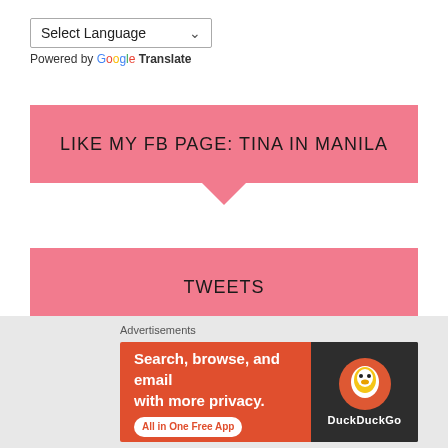Select Language ▼
Powered by Google Translate
LIKE MY FB PAGE: TINA IN MANILA
TWEETS
Do 1000% Platonic Friendships Exist?
tinainmanila.com/2022/08/28/do-… 12 hours ago
Advertisements
[Figure (screenshot): DuckDuckGo advertisement banner: Search, browse, and email with more privacy. All in One Free App. Shows DuckDuckGo duck logo on dark background.]